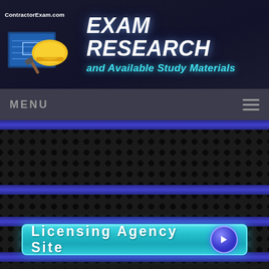ContractorExam.com — EXAM RESEARCH and Available Study Materials
MENU
[Figure (screenshot): Licensing Agency Site button with teal background and arrow icon on dark perforated metal background with blue stripe accents]